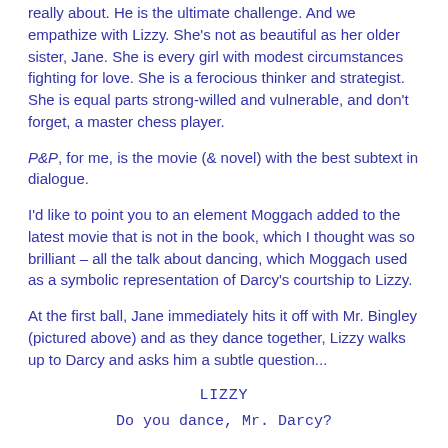really about. He is the ultimate challenge. And we empathize with Lizzy. She's not as beautiful as her older sister, Jane. She is every girl with modest circumstances fighting for love. She is a ferocious thinker and strategist. She is equal parts strong-willed and vulnerable, and don't forget, a master chess player.
P&P, for me, is the movie (& novel) with the best subtext in dialogue.
I'd like to point you to an element Moggach added to the latest movie that is not in the book, which I thought was so brilliant – all the talk about dancing, which Moggach used as a symbolic representation of Darcy's courtship to Lizzy.
At the first ball, Jane immediately hits it off with Mr. Bingley (pictured above) and as they dance together, Lizzy walks up to Darcy and asks him a subtle question...
LIZZY
Do you dance, Mr. Darcy?
DARCY
Not if I can help it.